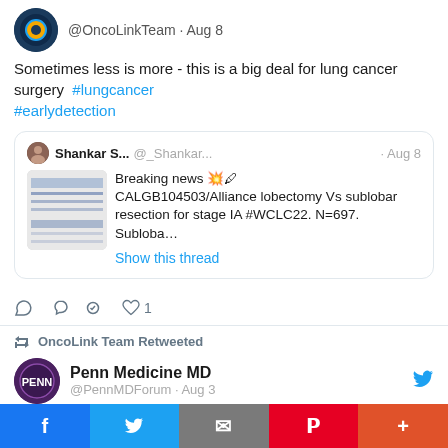@OncoLinkTeam · Aug 8
Sometimes less is more - this is a big deal for lung cancer surgery  #lungcancer #earlydetection
[Figure (screenshot): Quoted tweet by Shankar S... @_Shankar... · Aug 8 with thumbnail image: Breaking news 💥🖊 CALGB104503/Alliance lobectomy Vs sublobar resection for stage IA #WCLC22. N=697. Subloba... Show this thread]
♡ 1
OncoLink Team Retweeted
Penn Medicine MD @PennMDForum · Aug 3